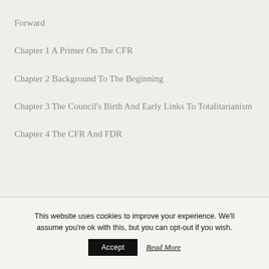Forward
Chapter 1 A Primer On The CFR
Chapter 2 Background To The Beginning
Chapter 3 The Council's Birth And Early Links To Totalitarianism
Chapter 4 The CFR And FDR
This website uses cookies to improve your experience. We'll assume you're ok with this, but you can opt-out if you wish.
Accept   Read More